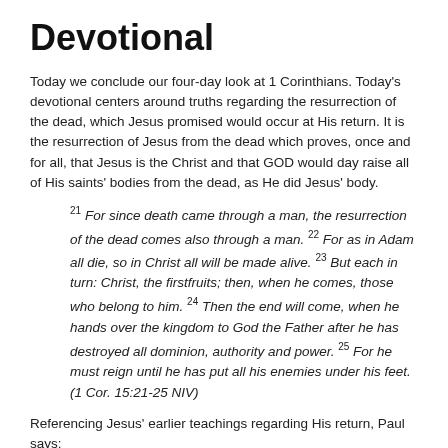Devotional
Today we conclude our four-day look at 1 Corinthians. Today's devotional centers around truths regarding the resurrection of the dead, which Jesus promised would occur at His return. It is the resurrection of Jesus from the dead which proves, once and for all, that Jesus is the Christ and that GOD would day raise all of His saints' bodies from the dead, as He did Jesus' body.
21 For since death came through a man, the resurrection of the dead comes also through a man. 22 For as in Adam all die, so in Christ all will be made alive. 23 But each in turn: Christ, the firstfruits; then, when he comes, those who belong to him. 24 Then the end will come, when he hands over the kingdom to God the Father after he has destroyed all dominion, authority and power. 25 For he must reign until he has put all his enemies under his feet. (1 Cor. 15:21-25 NIV)
Referencing Jesus' earlier teachings regarding His return, Paul says:
50 I declare to you, brothers and sisters, that flesh and blood cannot inherit the kingdom of God, nor does the perishable inherit the imperishable. 51 Listen, I tell you a